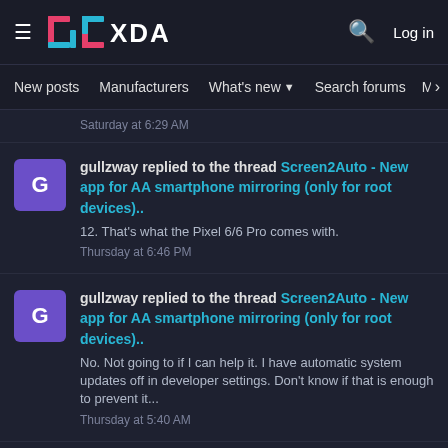XDA — Log in
New posts  Manufacturers  What's new  Search forums  Members  >
Saturday at 6:29 AM
gullzway replied to the thread Screen2Auto - New app for AA smartphone mirroring (only for root devices).. 12. That's what the Pixel 6/6 Pro comes with. Thursday at 6:46 PM
gullzway replied to the thread Screen2Auto - New app for AA smartphone mirroring (only for root devices).. No. Not going to if I can help it. I have automatic system updates off in developer settings. Don't know if that is enough to prevent it... Thursday at 5:40 AM
gullzway replied to the thread Screen2Auto - New app for AA smartphone mirroring (only for root devices).. Are people having trouble using AAEASE? That seems to be the simplest straightforward way to install S2A these days. I've had no